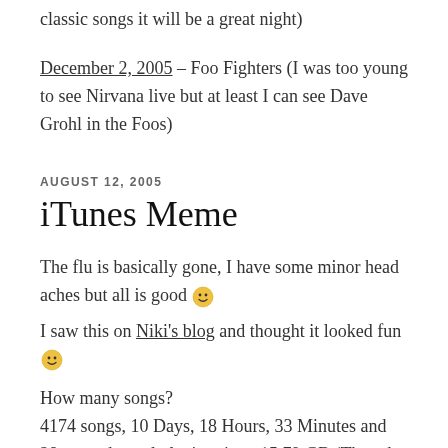classic songs it will be a great night)
December 2, 2005 – Foo Fighters (I was too young to see Nirvana live but at least I can see Dave Grohl in the Foos)
AUGUST 12, 2005
iTunes Meme
The flu is basically gone, I have some minor head aches but all is good 🙂
I saw this on Niki's blog and thought it looked fun 🙂
How many songs?
4174 songs, 10 Days, 18 Hours, 33 Minutes and 28 seconds total playing time, 15.79 GB (Though this is a rather partial collection, it includes most of my music, some of Matthew's and some of Karl's but not all the